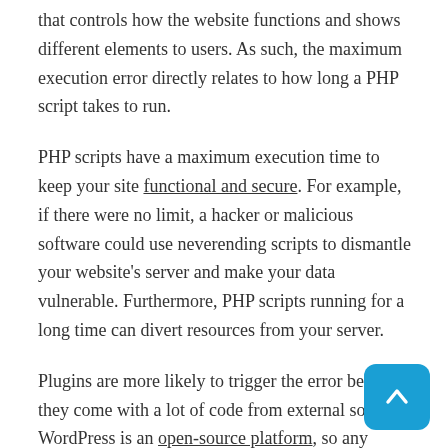that controls how the website functions and shows different elements to users. As such, the maximum execution error directly relates to how long a PHP script takes to run.
PHP scripts have a maximum execution time to keep your site functional and secure. For example, if there were no limit, a hacker or malicious software could use neverending scripts to dismantle your website's server and make your data vulnerable. Furthermore, PHP scripts running for a long time can divert resources from your server.
Plugins are more likely to trigger the error because they come with a lot of code from external sources. WordPress is an open-source platform, so any developer can design and upload plugins for it. If you install content from lesser-known developers, it may